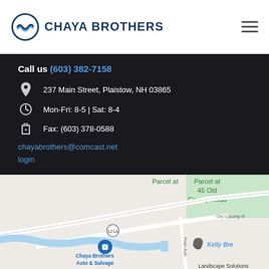CHAYA BROTHERS
Call us (603) 382-7158
237 Main Street, Plaistow, NH 03865
Mon-Fri: 8-5 | Sat: 8-4
Fax: (603) 378-0588
chayabrothers@comcast.net
login
[Figure (map): Google Maps view showing Chaya Brothers Auto & Salvage location at 237 Main Street, Plaistow NH, with route 121A and Old County Road visible, and Landscape Solutions marker also shown.]